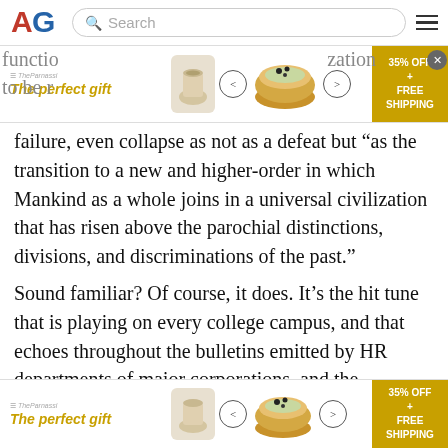AG [logo] Search [hamburger menu]
[Figure (infographic): Advertisement banner: 'The perfect gift' with bowl image and '35% OFF + FREE SHIPPING' badge]
failure, even collapse as not as a defeat but “as the transition to a new and higher-order in which Mankind as a whole joins in a universal civilization that has risen above the parochial distinctions, divisions, and discriminations of the past.”
Sound familiar? Of course, it does. It’s the hit tune that is playing on every college campus, and that echoes throughout the bulletins emitted by HR departments of major corporations, and the bleatings of Hollywood stars, media “celebrities,” and woke personalties whose affluence is matched only by their ignorance and
[Figure (infographic): Advertisement banner at bottom: 'The perfect gift' with bowl image and '35% OFF + FREE SHIPPING' badge]